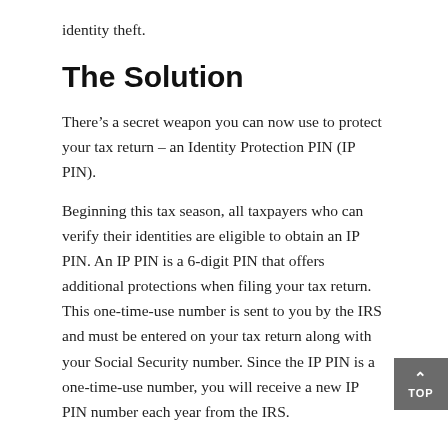identity theft.
The Solution
There’s a secret weapon you can now use to protect your tax return – an Identity Protection PIN (IP PIN).
Beginning this tax season, all taxpayers who can verify their identities are eligible to obtain an IP PIN. An IP PIN is a 6-digit PIN that offers additional protections when filing your tax return. This one-time-use number is sent to you by the IRS and must be entered on your tax return along with your Social Security number. Since the IP PIN is a one-time-use number, you will receive a new IP PIN number each year from the IRS.